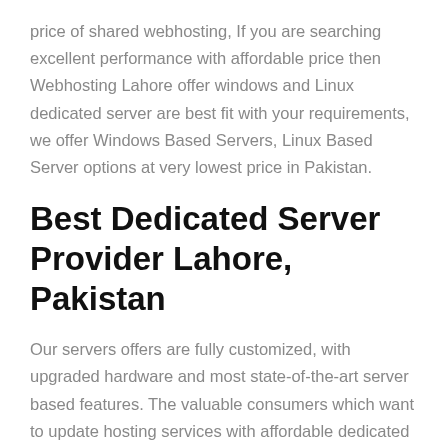price of shared webhosting, If you are searching excellent performance with affordable price then Webhosting Lahore offer windows and Linux dedicated server are best fit with your requirements, we offer Windows Based Servers, Linux Based Server options at very lowest price in Pakistan.
Best Dedicated Server Provider Lahore, Pakistan
Our servers offers are fully customized, with upgraded hardware and most state-of-the-art server based features. The valuable consumers which want to update hosting services with affordable dedicated servers, we proudly say that Webhosting Lahore proved it's self a best dedicated server provider company in Pakistan. Our fully trained staff available to serve any query of its valuable dedicated hosting clients.
There are plenty of other options to host you business website